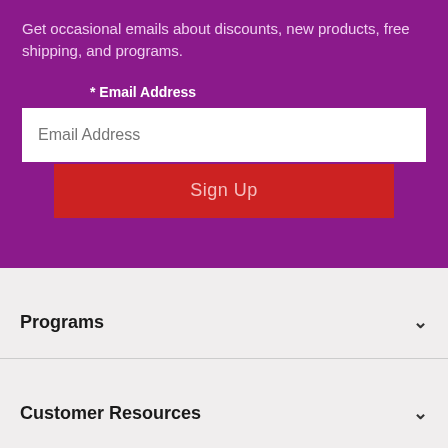Get occasional emails about discounts, new products, free shipping, and programs.
* Email Address
[Figure (screenshot): Email address input field with placeholder text 'Email Address' and a red 'Sign Up' button below it]
Programs
Customer Resources